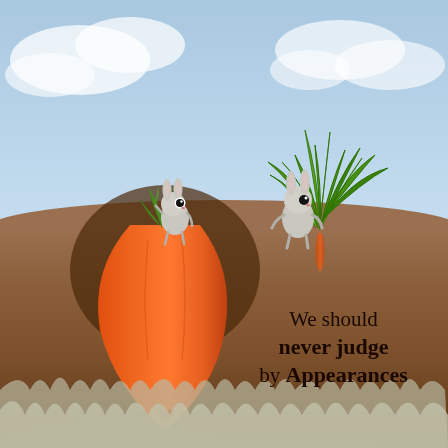[Figure (illustration): An illustrated scene showing two cartoon rabbits on a ground surface. One small rabbit stands on top of a tiny carrot sprout; below ground is revealed a massive orange carrot. The second rabbit stands beside a large leafy green carrot top, but only a thin sliver of carrot is underground. The illustration conveys the moral that appearances can be deceiving — the small-looking carrot is actually enormous underground, while the impressive-looking one is tiny.]
We should never judge by Appearances